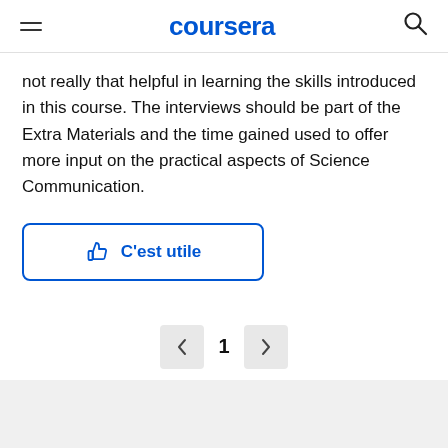coursera
not really that helpful in learning the skills introduced in this course. The interviews should be part of the Extra Materials and the time gained used to offer more input on the practical aspects of Science Communication.
[Figure (other): A 'C'est utile' (thumbs up / helpful) button with a thumbs up icon and blue text, outlined with a blue border.]
[Figure (other): Pagination control with left arrow button, page number '1', and right arrow button.]